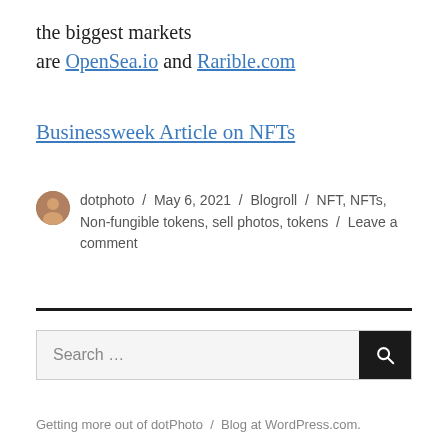the biggest markets are OpenSea.io and Rarible.com
Businessweek Article on NFTs
dotphoto / May 6, 2021 / Blogroll / NFT, NFTs, Non-fungible tokens, sell photos, tokens / Leave a comment
Search ...
Getting more out of dotPhoto / Blog at WordPress.com.